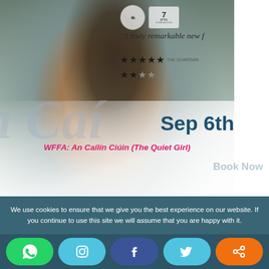[Figure (photo): Movie poster for 'An Cailín Ciúin (The Quiet Girl)' showing a young girl's face in a moody, muted tone with review quotes, star ratings, and award badges. Large italic watermark text of the film title overlaid. Date 'Sep 6th' in dark teal bold text.]
WFFA: An Cailín Ciúin (The Quiet Girl)
We use cookies to ensure that we give you the best experience on our website. If you continue to use this site we will assume that you are happy with it.
[Figure (infographic): Social media sharing buttons bar: WhatsApp (green), Instagram (light blue), Facebook (dark blue), Twitter (light blue), Share (orange)]